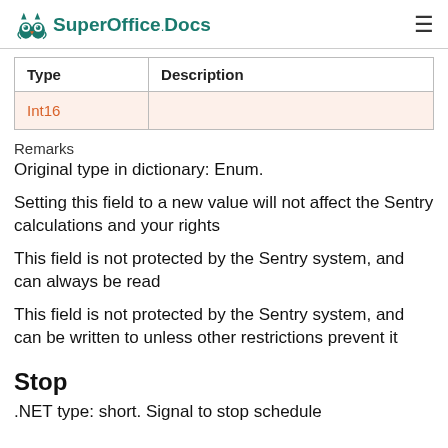SuperOffice.Docs
| Type | Description |
| --- | --- |
| Int16 |  |
Remarks
Original type in dictionary: Enum.
Setting this field to a new value will not affect the Sentry calculations and your rights
This field is not protected by the Sentry system, and can always be read
This field is not protected by the Sentry system, and can be written to unless other restrictions prevent it
Stop
.NET type: short. Signal to stop schedule